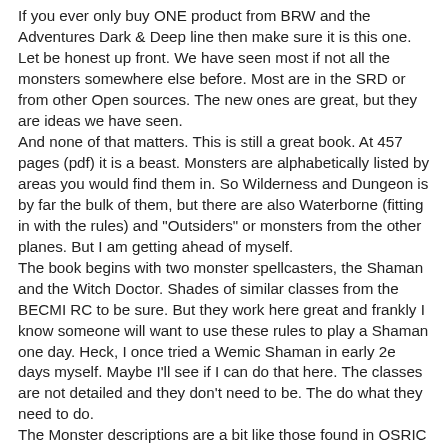If you ever only buy ONE product from BRW and the Adventures Dark & Deep line then make sure it is this one. Let be honest up front. We have seen most if not all the monsters somewhere else before. Most are in the SRD or from other Open sources. The new ones are great, but they are ideas we have seen.
And none of that matters. This is still a great book. At 457 pages (pdf) it is a beast. Monsters are alphabetically listed by areas you would find them in. So Wilderness and Dungeon is by far the bulk of them, but there are also Waterborne (fitting in with the rules) and "Outsiders" or monsters from the other planes. But I am getting ahead of myself.
The book begins with two monster spellcasters, the Shaman and the Witch Doctor. Shades of similar classes from the BECMI RC to be sure. But they work here great and frankly I know someone will want to use these rules to play a Shaman one day. Heck, I once tried a Wemic Shaman in early 2e days myself. Maybe I'll see if I can do that here. The classes are not detailed and they don't need to be. The do what they need to do.
The Monster descriptions are a bit like those found in OSRIC